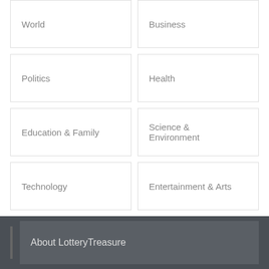World
Business
Politics
Health
Education & Family
Science & Environment
Technology
Entertainment & Arts
Tags
Barrow-in-Furness
About LotteryTreasure